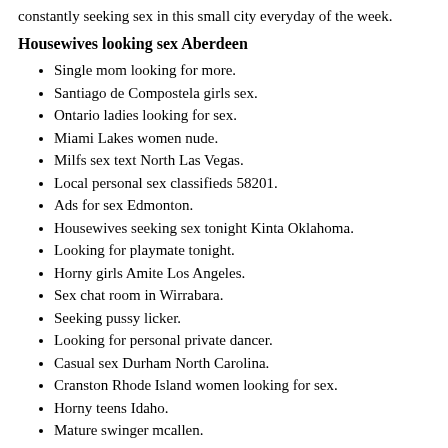constantly seeking sex in this small city everyday of the week.
Housewives looking sex Aberdeen
Single mom looking for more.
Santiago de Compostela girls sex.
Ontario ladies looking for sex.
Miami Lakes women nude.
Milfs sex text North Las Vegas.
Local personal sex classifieds 58201.
Ads for sex Edmonton.
Housewives seeking sex tonight Kinta Oklahoma.
Looking for playmate tonight.
Horny girls Amite Los Angeles.
Sex chat room in Wirrabara.
Seeking pussy licker.
Looking for personal private dancer.
Casual sex Durham North Carolina.
Cranston Rhode Island women looking for sex.
Horny teens Idaho.
Mature swinger mcallen.
email: lafyaegvtf@gmail.com - phone:(721) 757-4743 x 5612
Horny Greensboro North Carolina women.
Girls looking for sex in Spokane daytime.